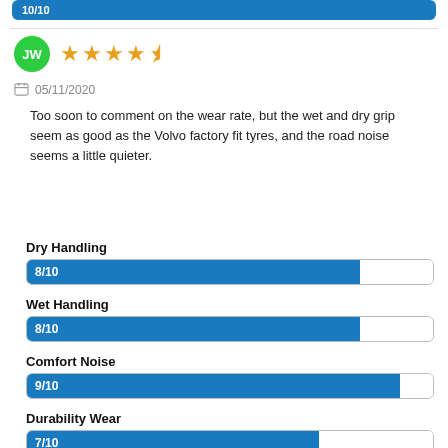[Figure (other): Blue progress bar showing a score, partially visible at top of page]
JW
[Figure (other): Star rating: 4 full stars and 1 half star out of 5]
05/11/2020
Too soon to comment on the wear rate, but the wet and dry grip seem as good as the Volvo factory fit tyres, and the road noise seems a little quieter.
Dry Handling
[Figure (bar-chart): Dry Handling]
Wet Handling
[Figure (bar-chart): Wet Handling]
Comfort Noise
[Figure (bar-chart): Comfort Noise]
Durability Wear
[Figure (bar-chart): Durability Wear]